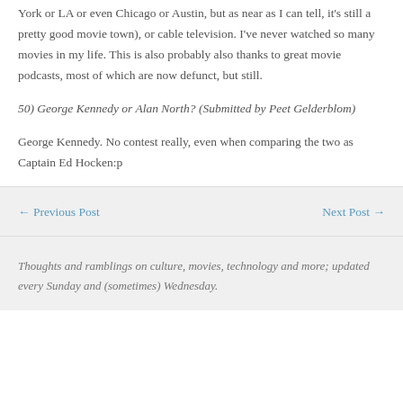York or LA or even Chicago or Austin, but as near as I can tell, it's still a pretty good movie town), or cable television. I've never watched so many movies in my life. This is also probably also thanks to great movie podcasts, most of which are now defunct, but still.
50) George Kennedy or Alan North? (Submitted by Peet Gelderblom)
George Kennedy. No contest really, even when comparing the two as Captain Ed Hocken:p
← Previous Post    Next Post →
Thoughts and ramblings on culture, movies, technology and more; updated every Sunday and (sometimes) Wednesday.